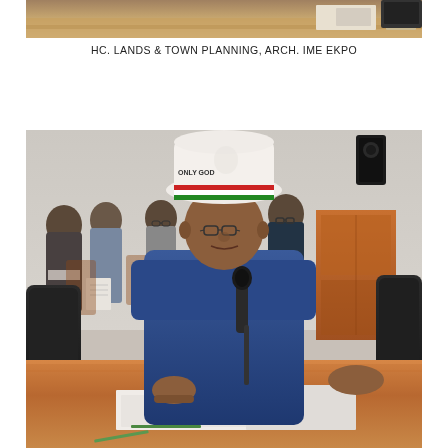[Figure (photo): Top portion of a photo showing a desk/table surface and partial view of a meeting room setting, cropped at the top of the page]
HC. LANDS & TOWN PLANNING, ARCH. IME EKPO
[Figure (photo): A man wearing a white hat with red, white, and green stripes (labeled 'ONLY GOD') and a blue outfit speaks into a microphone at a conference table. Several other attendees are visible seated in chairs in the background of what appears to be a government meeting room.]